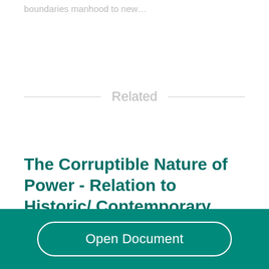boundaries manhood to new…
Related
The Corruptible Nature of Power - Relation to Historic/ Contemporary Figures & the Play Othello
Open Document